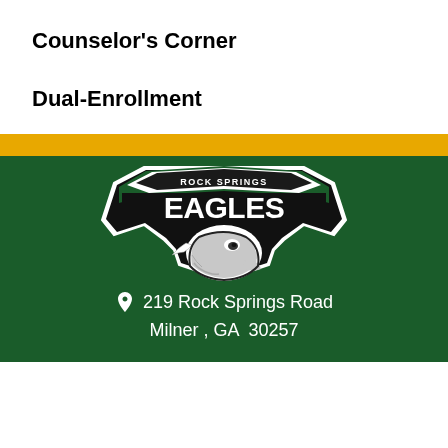Counselor's Corner
Dual-Enrollment
[Figure (logo): Rock Springs Eagles school logo — eagle mascot head below a dark banner reading 'ROCK SPRINGS' above large stylized 'EAGLES' lettering, white and black on dark background]
219 Rock Springs Road
Milner , GA  30257